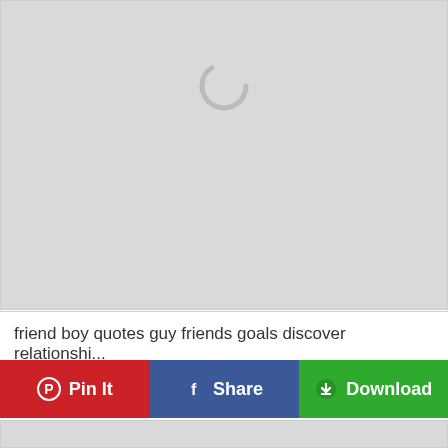[Figure (screenshot): Gray placeholder image area with a spinning loading indicator (circle) centered near the top]
friend boy quotes guy friends goals discover relationshi...
[Figure (screenshot): Three social sharing/action buttons: Pin It (red, Pinterest), Share (blue, Facebook), Download (green)]
[Figure (screenshot): Gray placeholder image card at the bottom, partially visible]